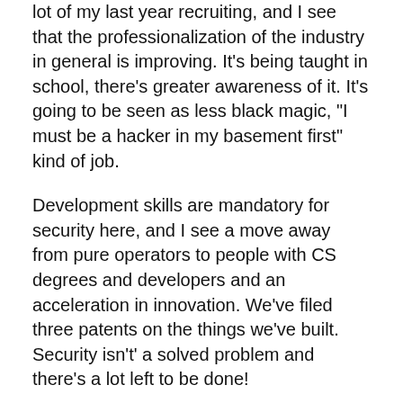lot of my last year recruiting, and I see that the professionalization of the industry in general is improving. It's being taught in school, there's greater awareness of it. It's going to be seen as less black magic, "I must be a hacker in my basement first" kind of job.
Development skills are mandatory for security here, and I see a move away from pure operators to people with CS degrees and developers and an acceleration in innovation. We've filed three patents on the things we've built. Security isn't' a solved problem and there's a lot left to be done!
We're working right now on a distributed scanning system that's very AWS friendly, code named Monterey. We hope to be open sourcing it next year.  How do you inventory and assess an environment that's always changing? It's a very asynchronous problem. We thought about it for a